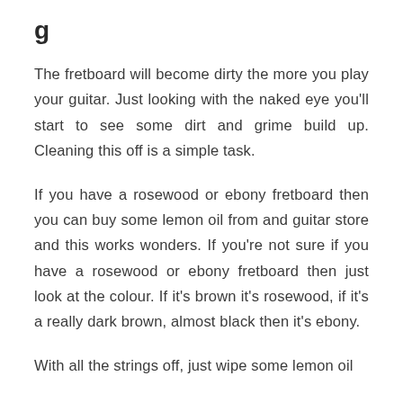g
The fretboard will become dirty the more you play your guitar. Just looking with the naked eye you'll start to see some dirt and grime build up. Cleaning this off is a simple task.
If you have a rosewood or ebony fretboard then you can buy some lemon oil from and guitar store and this works wonders. If you're not sure if you have a rosewood or ebony fretboard then just look at the colour. If it's brown it's rosewood, if it's a really dark brown, almost black then it's ebony.
With all the strings off, just wipe some lemon oil